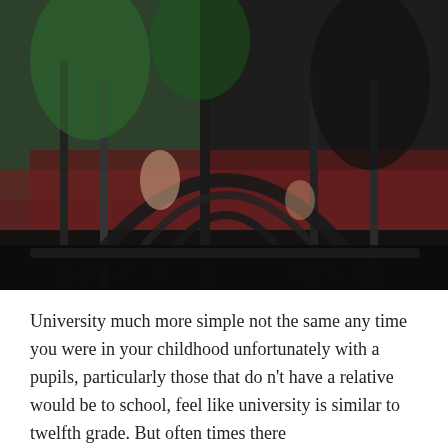[Figure (photo): Photo of people in costumes on a bed with a dark metal bed frame. The scene shows figures in green and dark clothing on a bed with dark red/maroon bedding.]
University much more simple not the same any time you were in your childhood unfortunately with a pupils, particularly those that do n't have a relative would be to school, feel like university is similar to twelfth grade. But often times there